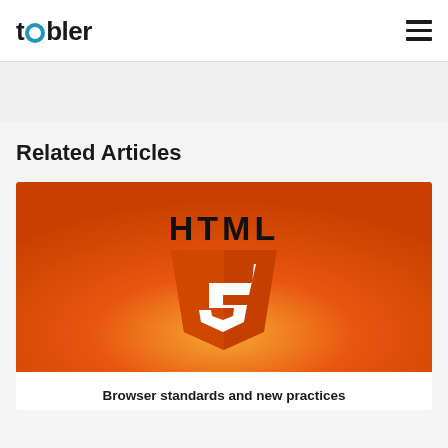toobler
Related Articles
[Figure (illustration): HTML5 logo shield with white '5' on orange background, with 'HTML' text above in black on orange background]
Browser standards and new practices